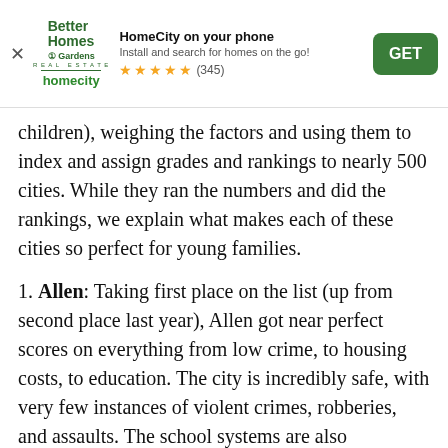[Figure (screenshot): App install banner for HomeCity / Better Homes and Gardens Real Estate app. Shows logo, title 'HomeCity on your phone', subtitle 'Install and search for homes on the go!', 5 star rating (345 reviews), and a green GET button. There is an X close button on the left.]
children), weighing the factors and using them to index and assign grades and rankings to nearly 500 cities. While they ran the numbers and did the rankings, we explain what makes each of these cities so perfect for young families.
1. Allen: Taking first place on the list (up from second place last year), Allen got near perfect scores on everything from low crime, to housing costs, to education. The city is incredibly safe, with very few instances of violent crimes, robberies, and assaults. The school systems are also extremely high ranking with Allen ISD getting an 8 out of 10 district ranking. With a student-teacher ratio of 18:1, Allen High School is ranked one of the best in the nation. On top of the stellar...